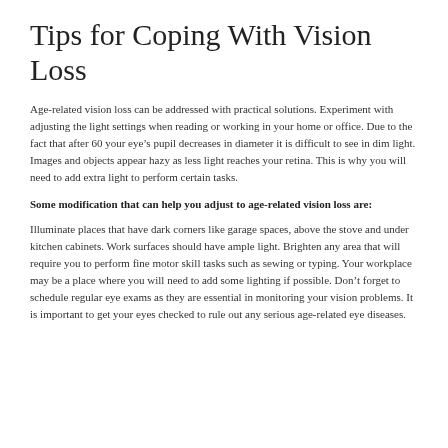Tips for Coping With Vision Loss
Age-related vision loss can be addressed with practical solutions. Experiment with adjusting the light settings when reading or working in your home or office. Due to the fact that after 60 your eye’s pupil decreases in diameter it is difficult to see in dim light. Images and objects appear hazy as less light reaches your retina. This is why you will need to add extra light to perform certain tasks.
Some modification that can help you adjust to age-related vision loss are:
Illuminate places that have dark corners like garage spaces, above the stove and under kitchen cabinets. Work surfaces should have ample light. Brighten any area that will require you to perform fine motor skill tasks such as sewing or typing. Your workplace may be a place where you will need to add some lighting if possible. Don’t forget to schedule regular eye exams as they are essential in monitoring your vision problems. It is important to get your eyes checked to rule out any serious age-related eye diseases.